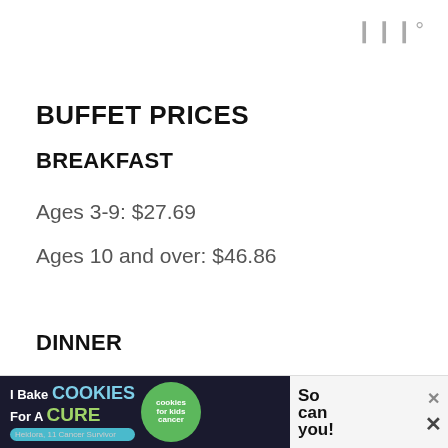|||°
BUFFET PRICES
BREAKFAST
Ages 3-9: $27.69
Ages 10 and over: $46.86
DINNER
Ages 3-9: $37.28
Ages 10 and over: $62.84
[Figure (other): Advertisement banner: I Bake COOKIES For A CURE – Heidora, 11 Cancer Survivor – So can you! cookies for kids cancer]